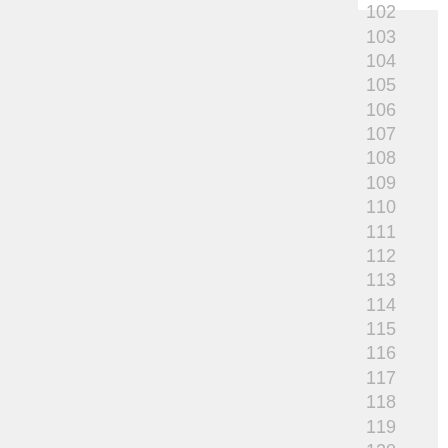102
103
104
105
106
107
108
109
110
111
112
113
114
115
116
117
118
119
120
121
122
123
124